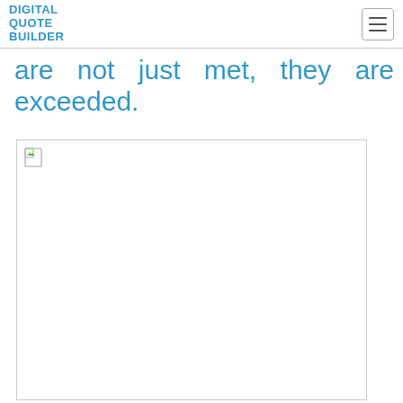DIGITAL QUOTE BUILDER
are not just met, they are exceeded.
[Figure (photo): Broken/missing image placeholder with small broken image icon in top-left corner]